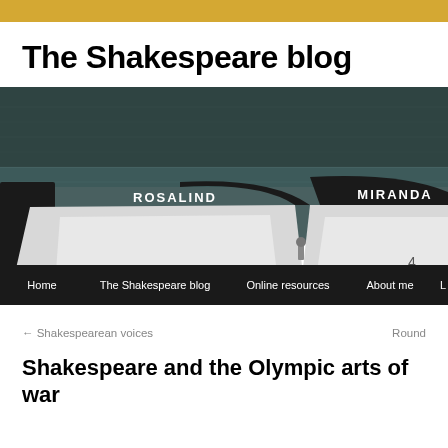The Shakespeare blog
[Figure (photo): Two rowing boats named ROSALIND and MIRANDA moored on dark water, with a navigation menu bar at the bottom showing Home, The Shakespeare blog, Online resources, About me, and more.]
← Shakespearean voices
Round
Shakespeare and the Olympic arts of war